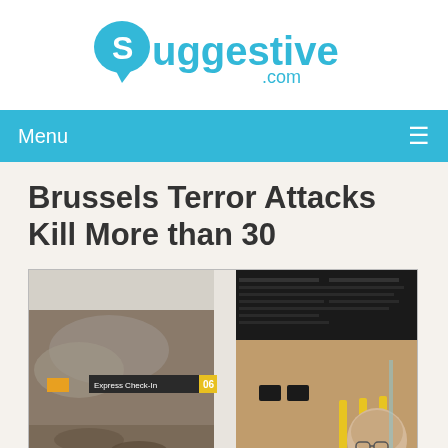[Figure (logo): Suggestive.com logo in blue with speech bubble icon]
Menu ≡
Brussels Terror Attacks Kill More than 30
[Figure (photo): Airport interior scene showing aftermath of Brussels terror attack, people running, damaged terminal, flight information boards visible, Express Check-In sign, debris on floor]